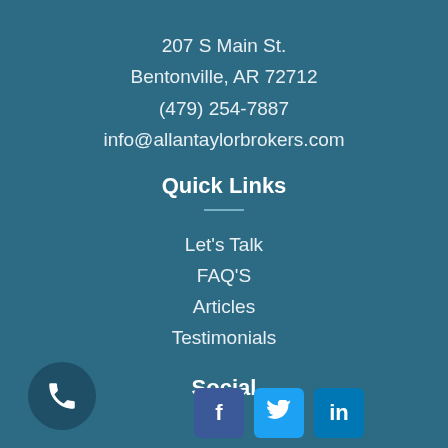207 S Main St.
Bentonville, AR 72712
(479) 254-7887
info@allantaylorbrokers.com
Quick Links
Let's Talk
FAQ'S
Articles
Testimonials
Social
[Figure (illustration): Social media icons: Facebook (dark blue), Twitter (light blue), LinkedIn (blue), and a phone call button (circular dark teal) in the bottom left corner.]